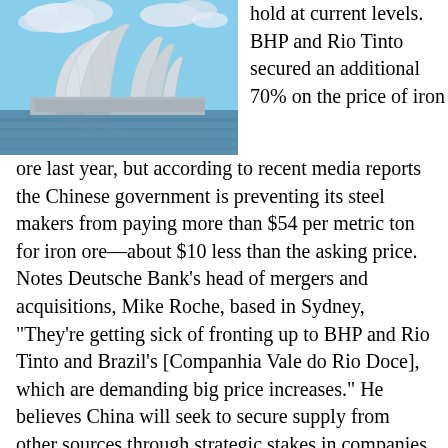[Figure (photo): Photograph of the Sydney Opera House with water in the foreground and blue sky with clouds in the background.]
hold at current levels. BHP and Rio Tinto secured an additional 70% on the price of iron ore last year, but according to recent media reports the Chinese government is preventing its steel makers from paying more than $54 per metric ton for iron ore—about $10 less than the asking price. Notes Deutsche Bank's head of mergers and acquisitions, Mike Roche, based in Sydney, "They're getting sick of fronting up to BHP and Rio Tinto and Brazil's [Companhia Vale do Rio Doce], which are demanding big price increases." He believes China will seek to secure supply from other sources through strategic stakes in companies that in turn have a stake in a project.
In the meantime, Australia's resources companies are not sitting idle. Mining companies OneSteel and Smorgon Steel Group are planning a $5.5 billion merger, and there's talk of other smaller players joining forces. "There will be a lot of